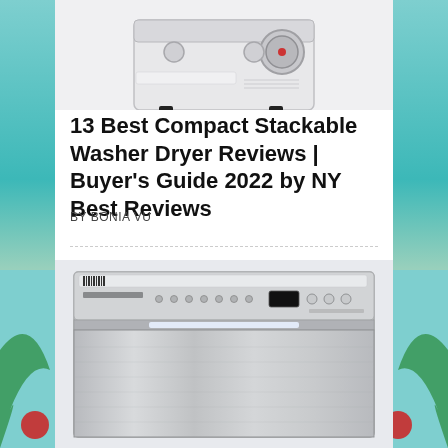[Figure (photo): Partial top view of a compact washer/dryer unit — white/grey appliance with a round dial and control knobs, cropped at the top of the page]
13 Best Compact Stackable Washer Dryer Reviews | Buyer's Guide 2022 by NY Best Reviews
BY BONIA VU
[Figure (photo): Front-facing photo of a stainless steel built-in dishwasher with a control panel across the top showing buttons and a digital display]